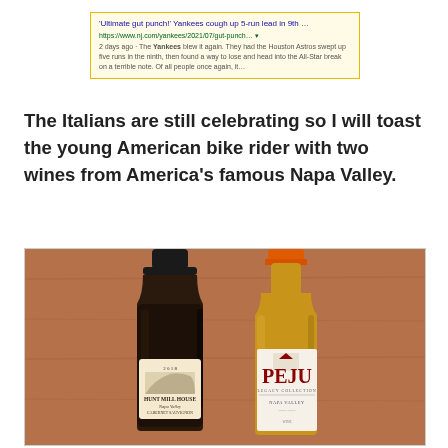[Figure (screenshot): Google search result snippet showing headline ''Ultimate gut punch!' Yankees cough up 5-run lead in 9th …' with URL https://www.nj.com/yankees/2021/07/gut-punch... and a short excerpt about the Yankees blowing a lead.]
The Italians are still celebrating so I will toast the young American bike rider with two wines from America's famous Napa Valley.
[Figure (photo): Photograph of two wine bottles side by side on a wooden surface. Left bottle is Hunt Mill House Napa Valley Cabernet Sauvignon (2018). Right bottle is Peju Legacy Collection Napa Valley wine with an orange foil cap.]